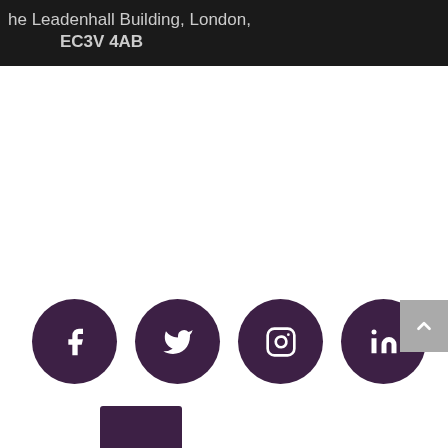he Leadenhall Building, London, EC3V 4AB
[Figure (infographic): Four social media icons (Facebook, Twitter, Instagram, LinkedIn) as white symbols on dark purple circles, arranged in a row]
[Figure (other): Partial dark purple rectangle visible at bottom left, suggesting a logo or footer element]